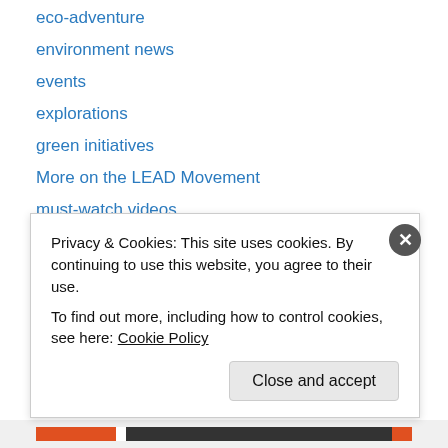eco-adventure
environment news
events
explorations
green initiatives
More on the LEAD Movement
must-watch videos
tourism
Uncategorized
Archives
May 2015
Privacy & Cookies: This site uses cookies. By continuing to use this website, you agree to their use.
To find out more, including how to control cookies, see here: Cookie Policy
Close and accept